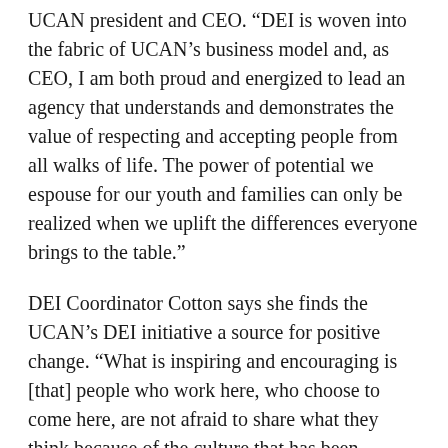UCAN president and CEO. “DEI is woven into the fabric of UCAN’s business model and, as CEO, I am both proud and energized to lead an agency that understands and demonstrates the value of respecting and accepting people from all walks of life. The power of potential we espouse for our youth and families can only be realized when we uplift the differences everyone brings to the table.”
DEI Coordinator Cotton says she finds the UCAN’s DEI initiative a source for positive change. “What is inspiring and encouraging is [that] people who work here, who choose to come here, are not afraid to share what they think because of the culture that has been created here,” she says. “This is not always the case, especially in marginalized communities who often feel they don’t have a voice.”
Robinson agrees. “We’ve continued to stay focused and intentional about the work of DEI and have